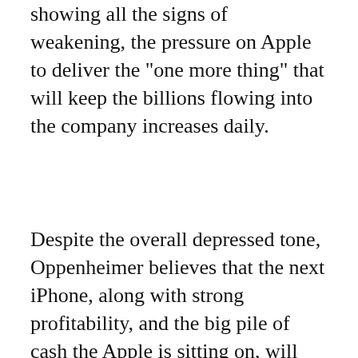showing all the signs of weakening, the pressure on Apple to deliver the "one more thing" that will keep the billions flowing into the company increases daily.
Despite the overall depressed tone, Oppenheimer believes that the next iPhone, along with strong profitability, and the big pile of cash the Apple is sitting on, will keep investors interested, and as